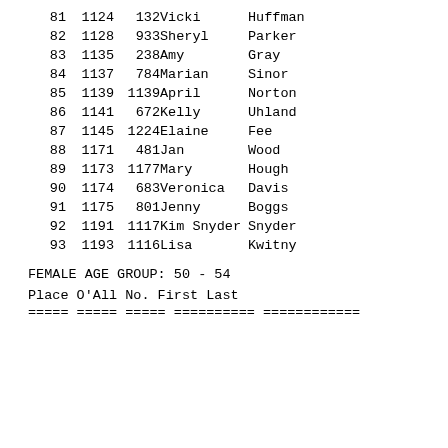| Place | O'All | No. | First | Last |
| --- | --- | --- | --- | --- |
| 81 | 1124 | 132 | Vicki | Huffman |
| 82 | 1128 | 933 | Sheryl | Parker |
| 83 | 1135 | 238 | Amy | Gray |
| 84 | 1137 | 784 | Marian | Sinor |
| 85 | 1139 | 1139 | April | Norton |
| 86 | 1141 | 672 | Kelly | Uhland |
| 87 | 1145 | 1224 | Elaine | Fee |
| 88 | 1171 | 481 | Jan | Wood |
| 89 | 1173 | 1177 | Mary | Hough |
| 90 | 1174 | 683 | Veronica | Davis |
| 91 | 1175 | 801 | Jenny | Boggs |
| 92 | 1191 | 1117 | Kim Snyder | Snyder |
| 93 | 1193 | 1116 | Lisa | Kwitny |
FEMALE AGE GROUP:  50 - 54
Place O'All No.  First      Last
===== ===== ===== ========== ============